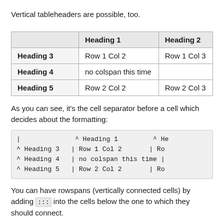Vertical tableheaders are possible, too.
|  | Heading 1 | Heading 2 |
| --- | --- | --- |
| Heading 3 | Row 1 Col 2 | Row 1 Col 3 |
| Heading 4 | no colspan this time |  |
| Heading 5 | Row 2 Col 2 | Row 2 Col 3 |
As you can see, it's the cell separator before a cell which decides about the formatting:
| ^ Heading 1 ^ He
^ Heading 3 | Row 1 Col 2 | Ro
^ Heading 4 | no colspan this time |
^ Heading 5 | Row 2 Col 2 | Ro
You can have rowspans (vertically connected cells) by adding ::: into the cells below the one to which they should connect.